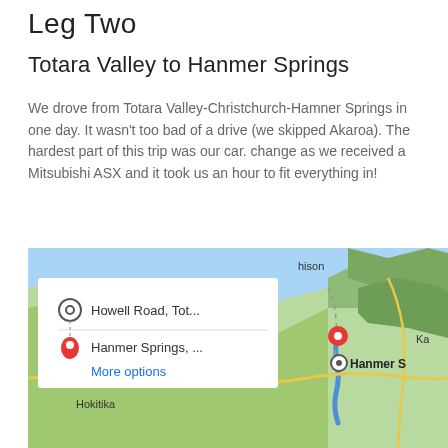Leg Two
Totara Valley to Hanmer Springs
We drove from Totara Valley-Christchurch-Hamner Springs in one day. It wasn't too bad of a drive (we skipped Akaroa). The hardest part of this trip was our car. change as we received a Mitsubishi ASX and it took us an hour to fit everything in!
[Figure (map): Google Maps screenshot showing route from Howell Road, Tot... to Hanmer Springs, ... with a popup showing those two waypoints and 'More options' link. Map shows Greymouth, Hokitika, Hanmer Springs area with a blue route line and red destination pin.]